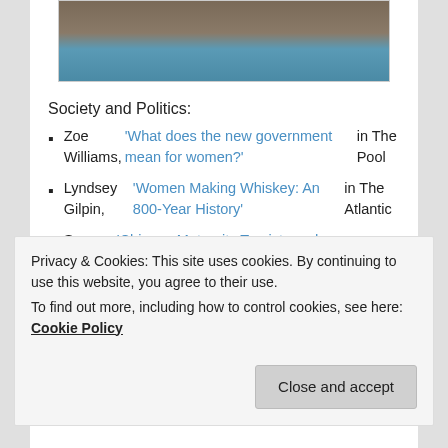[Figure (photo): Partial photo showing a person wearing a blue garment with a gold ring visible, cropped at top]
Society and Politics:
Zoe Williams, 'What does the new government mean for women?' in The Pool
Lyndsey Gilpin, 'Women Making Whiskey: An 800-Year History' in The Atlantic
Susan Berfield, 'Chinese Maternity Tourists and the Business of Being Born American' on Bloomberg
Aude Konan, 'Why Black people in France are still invisible' on Media Diversified
Sarah Ladipo Manyika, 'Coming of Age in the Time
Privacy & Cookies: This site uses cookies. By continuing to use this website, you agree to their use.
To find out more, including how to control cookies, see here: Cookie Policy